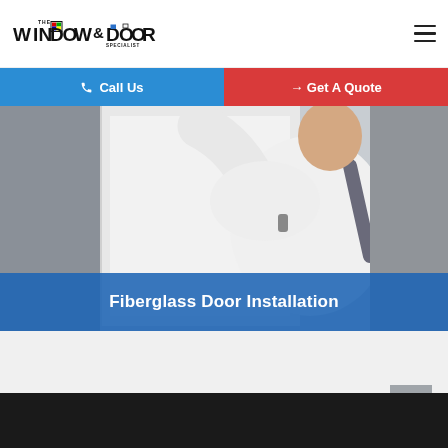[Figure (logo): The Window & Door Specialist logo with stylized text and colored window pane accents]
Call Us
Get A Quote
[Figure (photo): A person in a white t-shirt installing or fitting a white door against a wall]
Fiberglass Door Installation